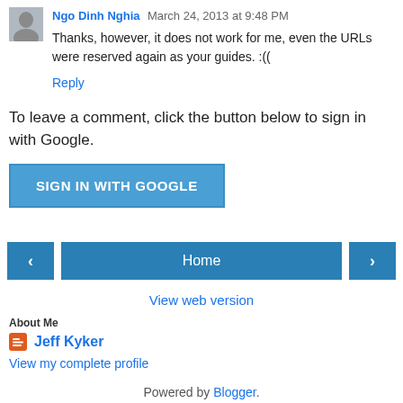Ngo Dinh Nghia March 24, 2013 at 9:48 PM
Thanks, however, it does not work for me, even the URLs were reserved again as your guides. :((
Reply
To leave a comment, click the button below to sign in with Google.
SIGN IN WITH GOOGLE
Home
View web version
About Me
Jeff Kyker
View my complete profile
Powered by Blogger.